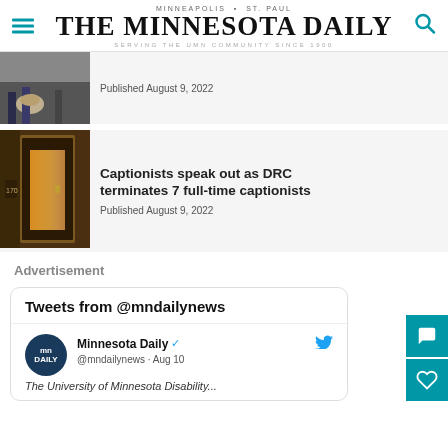MINNEAPOLIS · ST. PAUL
THE MINNESOTA DAILY
SERVING THE UMN COMMUNITY SINCE 1900
Published August 9, 2022
[Figure (photo): Photo of people with a dog on a street]
[Figure (photo): Photo of wooden door in hallway]
Captionists speak out as DRC terminates 7 full-time captionists
Published August 9, 2022
Advertisement
Tweets from @mndailynews
Minnesota Daily @mndailynews · Aug 10
The University of Minnesota Disability...